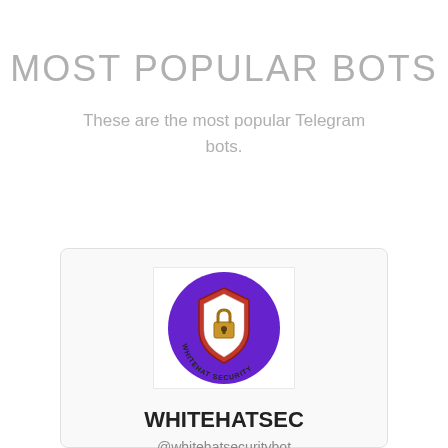MOST POPULAR BOTS
These are the most popular Telegram bots.
[Figure (logo): WhiteHat Security bot logo: purple circle with a shield icon containing a padlock, text 'WHITEHAT SECURITY' around the bottom inside the circle]
WHITEHATSEC
@whitehatsecuritybot
WhiteHatSec